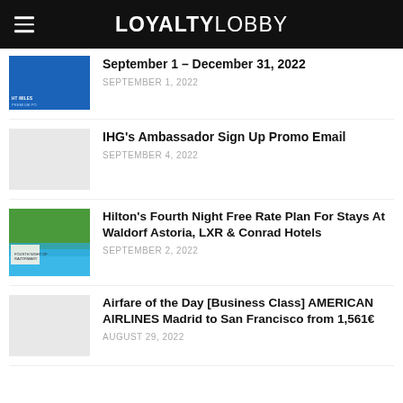LOYALTYLOBBY
September 1 – December 31, 2022
SEPTEMBER 1, 2022
IHG's Ambassador Sign Up Promo Email
SEPTEMBER 4, 2022
Hilton's Fourth Night Free Rate Plan For Stays At Waldorf Astoria, LXR & Conrad Hotels
SEPTEMBER 2, 2022
Airfare of the Day [Business Class] AMERICAN AIRLINES Madrid to San Francisco from 1,561€
AUGUST 29, 2022